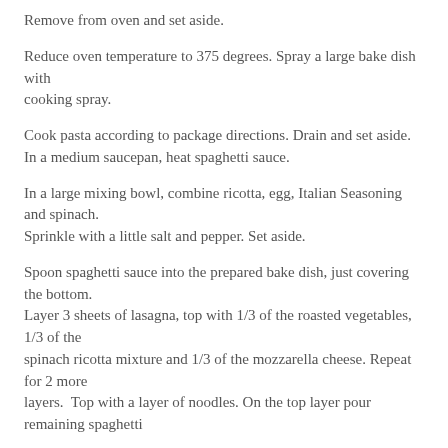Remove from oven and set aside.
Reduce oven temperature to 375 degrees. Spray a large bake dish with cooking spray.
Cook pasta according to package directions. Drain and set aside.
In a medium saucepan, heat spaghetti sauce.
In a large mixing bowl, combine ricotta, egg, Italian Seasoning and spinach.
Sprinkle with a little salt and pepper. Set aside.
Spoon spaghetti sauce into the prepared bake dish, just covering the bottom.
Layer 3 sheets of lasagna, top with 1/3 of the roasted vegetables, 1/3 of the spinach ricotta mixture and 1/3 of the mozzarella cheese. Repeat for 2 more layers.  Top with a layer of noodles. On the top layer pour remaining spaghetti